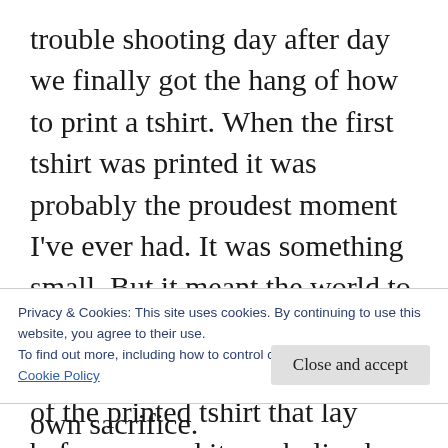trouble shooting day after day we finally got the hang of how to print a tshirt. When the first tshirt was printed it was probably the proudest moment I've ever had. It was something small. But it meant the world to me. Everything I had given up had culminated to the creation of the printed tshirt that lay before me and it symbolized what the future held. It meant more prints. A business to call my own. It meant I was closer to living out my dream.
Privacy & Cookies: This site uses cookies. By continuing to use this website, you agree to their use.
To find out more, including how to control cookies, see here:
Cookie Policy
Close and accept
It's time for you to make your own sacrifice.